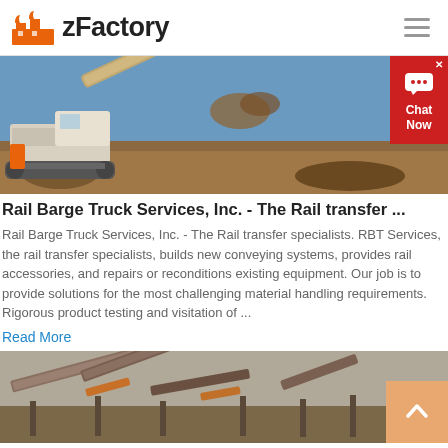zFactory
[Figure (photo): Industrial excavator/conveyor equipment at a mining or construction site, orange and white machinery against blue sky and rocky terrain]
Rail Barge Truck Services, Inc. - The Rail transfer ...
Rail Barge Truck Services, Inc. - The Rail transfer specialists. RBT Services, the rail transfer specialists, builds new conveying systems, provides rail accessories, and repairs or reconditions existing equipment. Our job is to provide solutions for the most challenging material handling requirements. Rigorous product testing and visitation of ...
Read More
[Figure (photo): Industrial conveyor belt systems at a mining operation, multiple belt conveyors visible from aerial/elevated view]